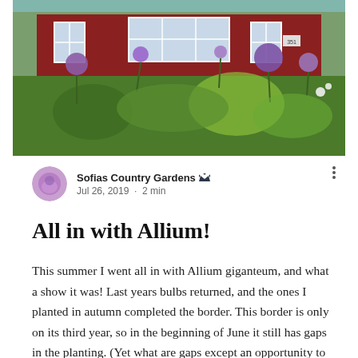[Figure (photo): A red Swedish country house with white-trimmed windows, surrounded by a lush garden featuring purple allium flowers and various green plants in full bloom on a sunny summer day.]
Sofias Country Gardens [crown icon]
Jul 26, 2019  ·  2 min
All in with Allium!
This summer I went all in with Allium giganteum, and what a show it was! Last years bulbs returned, and the ones I planted in autumn completed the border. This border is only on its third year, so in the beginning of June it still has gaps in the planting. (Yet what are gaps except an opportunity to fill it up with even more interesting bulbs or plants…)